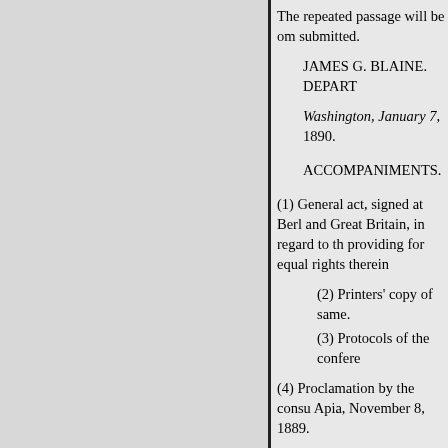The repeated passage will be om submitted.
JAMES G. BLAINE. DEPART
Washington, January 7, 1890.
ACCOMPANIMENTS.
(1) General act, signed at Berl and Great Britain, in regard to th providing for equal rights therein
(2) Printers' copy of same.
(3) Protocols of the confere
(4) Proclamation by the consu Apia, November 8, 1889.
(5) Report of commander of U proclamation by consular represe December 5, 1889, recognizing
(6) Note from the Imperial Ge
GENERAL ACT OF THE CO